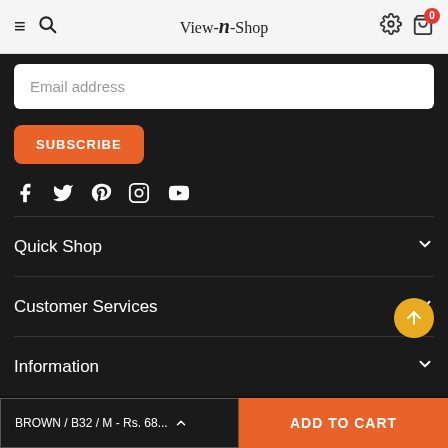View-n-Shop
Email address
SUBSCRIBE
[Figure (illustration): Social media icons: Facebook, Twitter, Pinterest, Instagram, YouTube]
Quick Shop
Customer Services
Information
[Figure (illustration): Payment method logos: AMEX, Diners Club, Discover, JCB, Maestro, Mastercard, Visa]
© 2020 Royal Creations. All Rights Reserved
BROWN / B32 / M - Rs. 68...
ADD TO CART